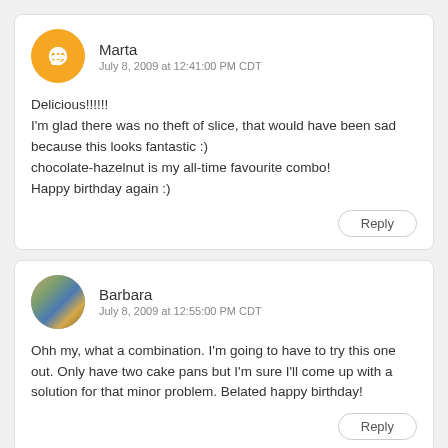Marta
July 8, 2009 at 12:41:00 PM CDT
Delicious!!!!!!
I'm glad there was no theft of slice, that would have been sad because this looks fantastic :)
chocolate-hazelnut is my all-time favourite combo!
Happy birthday again :)
Reply
Barbara
July 8, 2009 at 12:55:00 PM CDT
Ohh my, what a combination. I'm going to have to try this one out. Only have two cake pans but I'm sure I'll come up with a solution for that minor problem. Belated happy birthday!
Reply